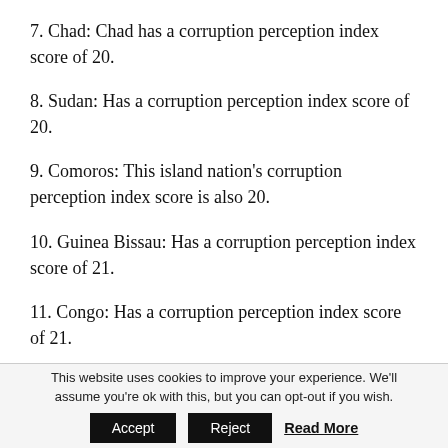7. Chad: Chad has a corruption perception index score of 20.
8. Sudan: Has a corruption perception index score of 20.
9. Comoros: This island nation's corruption perception index score is also 20.
10. Guinea Bissau: Has a corruption perception index score of 21.
11. Congo: Has a corruption perception index score of 21.
12. Eritrea: Has a corruption perception index score of 22.
This website uses cookies to improve your experience. We'll assume you're ok with this, but you can opt-out if you wish. Accept Reject Read More